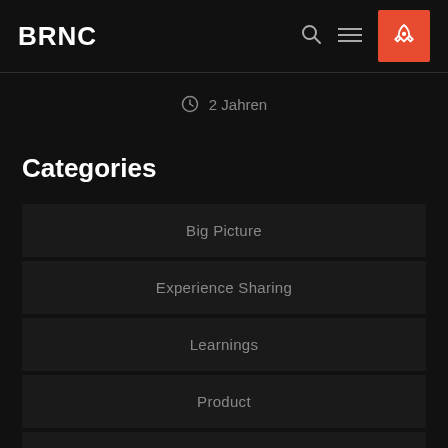BRNC
2 Jahren
Categories
Big Picture
Experience Sharing
Learnings
Product
Team